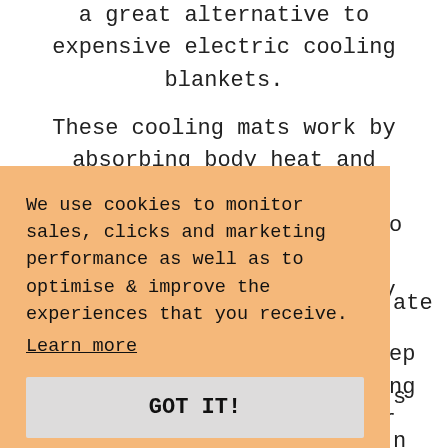a great alternative to expensive electric cooling blankets.
These cooling mats work by absorbing body heat and turning it into a liquid state. The time required to recharge them depends on their technology, but they should last for years if cared for properly. Just keep an eye on your pet when using them. If your pet chews or
We use cookies to monitor sales, clicks and marketing performance as well as to optimise & improve the experiences that you receive.
Learn more
GOT IT!